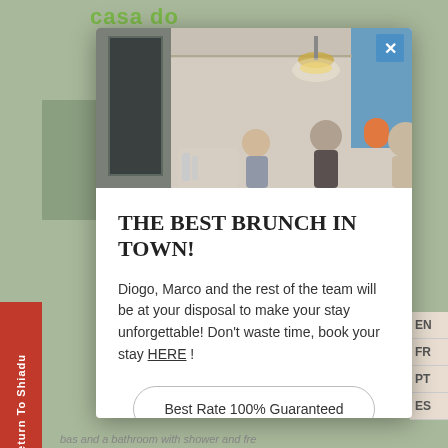[Figure (screenshot): Website background with green color scheme, red left sidebar with 'Return To Shiadu' text, language options (EN, FR, PT, ES) on right, and bottom faded text about bed and bathroom]
[Figure (photo): Interior room photo showing ceiling, doorframe, hanging lamp, and silhouettes of people]
THE BEST BRUNCH IN TOWN!
Diogo, Marco and the rest of the team will be at your disposal to make your stay unforgettable! Don't waste time, book your stay HERE !
Best Rate 100% Guaranteed